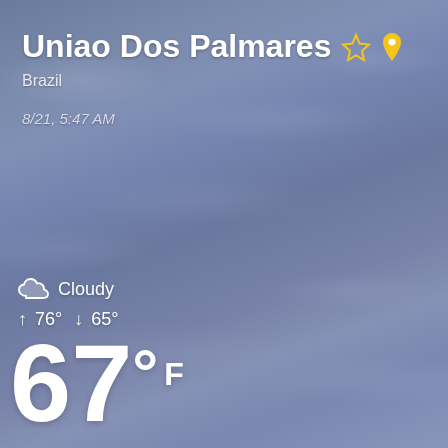[Figure (screenshot): Weather app screenshot showing cloudy sky background with weather information for Uniao Dos Palmares, Brazil]
Uniao Dos Palmares
Brazil
8/21, 5:47 AM
Cloudy
↑ 76° ↓ 65°
67° F